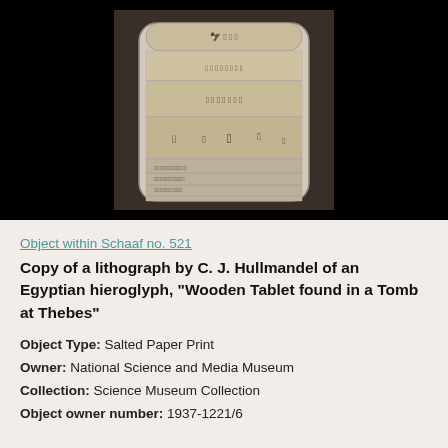[Figure (photo): Black and white photograph of an Egyptian stele/wooden tablet covered in hieroglyphs, showing registers of figures including deities and hieroglyphic text, mounted on dark background]
Object within Schaaf no. 521
Copy of a lithograph by C. J. Hullmandel of an Egyptian hieroglyph, "Wooden Tablet found in a Tomb at Thebes"
Object Type: Salted Paper Print
Owner: National Science and Media Museum
Collection: Science Museum Collection
Object owner number: 1937-1221/6